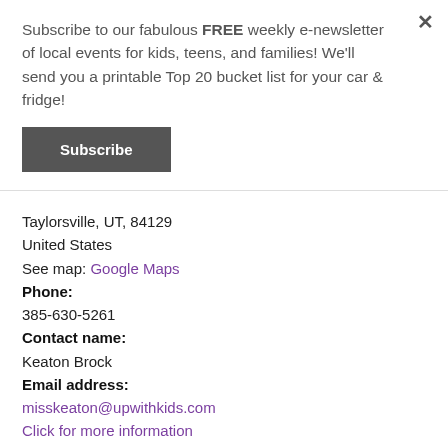Subscribe to our fabulous FREE weekly e-newsletter of local events for kids, teens, and families! We'll send you a printable Top 20 bucket list for your car & fridge!
Subscribe
Taylorsville, UT, 84129
United States
See map: Google Maps
Phone:
385-630-5261
Contact name:
Keaton Brock
Email address:
misskeaton@upwithkids.com
Click for more information
The event has already taken place on this date:
06/17/2022
Time:
9:00AM-3:00PM
Price: